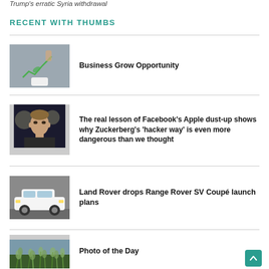Trump's erratic Syria withdrawal
RECENT WITH THUMBS
Business Grow Opportunity
The real lesson of Facebook's Apple dust-up shows why Zuckerberg's 'hacker way' is even more dangerous than we thought
Land Rover drops Range Rover SV Coupé launch plans
Photo of the Day